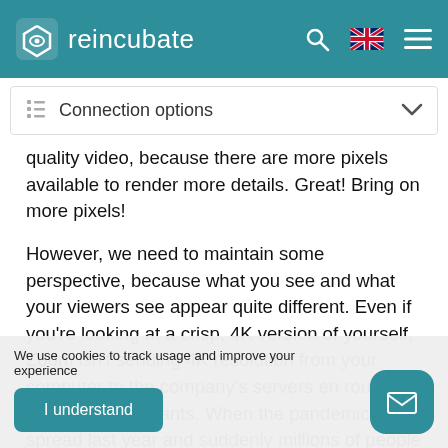reincubate
Connection options
quality video, because there are more pixels available to render more details. Great! Bring on more pixels!
However, we need to maintain some perspective, because what you see and what your viewers see appear quite different. Even if you're looking at a crisp, 4K version of yourself, Zoom isn't sending 4K resolution from your computer to the company's servers en route to your call participants. When the pandemic spread last year and suddenly millions of people were working and learning from home, Zoom throttled connections to 720p to maintain performance. At busy times, that might drop to 360p or lower during busy usage times. That results in soft or blocky video, because the pixels are being
We use cookies to track usage and improve your experience